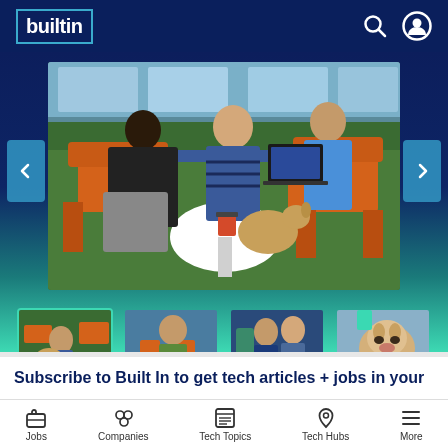Built In - header navigation with logo, search, and user icons
[Figure (screenshot): Built In website screenshot showing an image carousel of office/workplace photos with people and a dog, thumbnail strip below showing 4 photos, navigation arrows on sides]
Subscribe to Built In to get tech articles + jobs in your
Navigation bar with: Jobs, Companies, Tech Topics, Tech Hubs, More